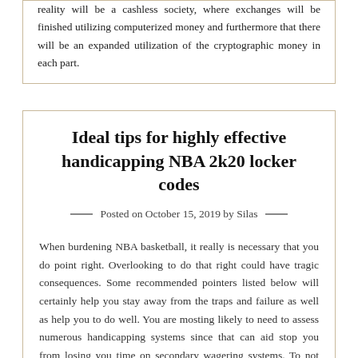reality will be a cashless society, where exchanges will be finished utilizing computerized money and furthermore that there will be an expanded utilization of the cryptographic money in each part.
Ideal tips for highly effective handicapping NBA 2k20 locker codes
Posted on October 15, 2019 by Silas
When burdening NBA basketball, it really is necessary that you do point right. Overlooking to do that right could have tragic consequences. Some recommended pointers listed below will certainly help you stay away from the traps and failure as well as help you to do well. You are mosting likely to need to assess numerous handicapping systems since that can aid stop you from losing you time on secondary wagering systems. To not obtain this done properly can be the...